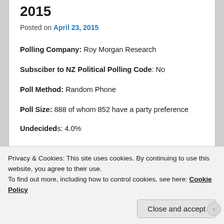2015
Posted on April 23, 2015
Polling Company: Roy Morgan Research
Subsciber to NZ Political Polling Code: No
Poll Method: Random Phone
Poll Size: 888 of whom 852 have a party preference
Undecideds: 4.0%
Dates: 06 April to 19 April 2015
Privacy & Cookies: This site uses cookies. By continuing to use this website, you agree to their use.
To find out more, including how to control cookies, see here: Cookie Policy
Close and accept